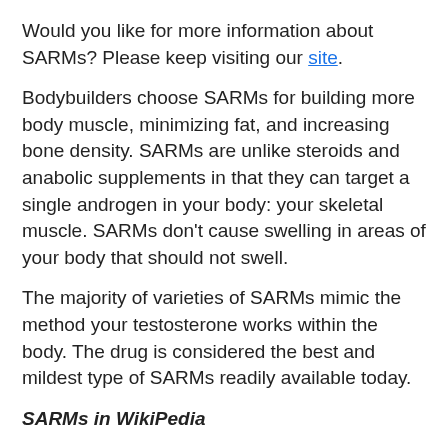Would you like for more information about SARMs? Please keep visiting our site.
Bodybuilders choose SARMs for building more body muscle, minimizing fat, and increasing bone density. SARMs are unlike steroids and anabolic supplements in that they can target a single androgen in your body: your skeletal muscle. SARMs don't cause swelling in areas of your body that should not swell.
The majority of varieties of SARMs mimic the method your testosterone works within the body. The drug is considered the best and mildest type of SARMs readily available today.
SARMs in WikiPedia
Selective androgen receptor modulators or SARMs are a novel class of androgen receptor ligands. They are intended to have the same kind of effects as androgenic drugs but be much more selective in their action, allowing them to be used for more uses than the activated…